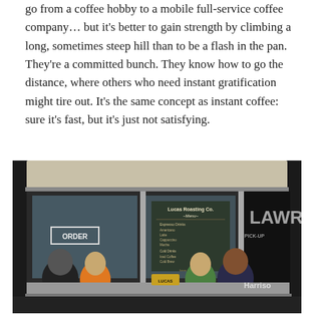go from a coffee hobby to a mobile full-service coffee company… but it's better to gain strength by climbing a long, sometimes steep hill than to be a flash in the pan. They're a committed bunch. They know how to go the distance, where others who need instant gratification might tire out. It's the same concept as instant coffee: sure it's fast, but it's just not satisfying.
[Figure (photo): A family of four — a man with a beard, a young girl in an orange shirt, a boy in a green striped shirt, and a woman — posing inside a mobile coffee truck (Lucas Roasting Co.) through the open service window. A chalkboard menu is visible inside, along with an ORDER sign. The side of the truck reads 'LAWR' and 'Harrison'.]